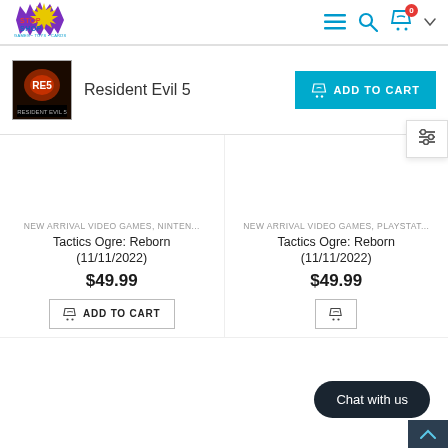[Figure (logo): Stop Shop logo with colorful text and icon]
[Figure (screenshot): Header navigation icons: hamburger menu, search, shopping cart with 0 badge, and dropdown arrow]
[Figure (photo): Resident Evil 5 game cover thumbnail]
Resident Evil 5
ADD TO CART button (blue)
NEW ARRIVAL VIDEO GAMES, NINTEN...
Tactics Ogre: Reborn (11/11/2022)
$49.99
ADD TO CART
NEW ARRIVAL VIDEO GAMES, PLAYSTAT...
Tactics Ogre: Reborn (11/11/2022)
$49.99
Chat with us